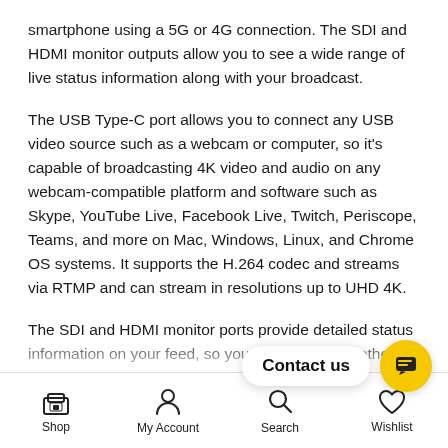smartphone using a 5G or 4G connection. The SDI and HDMI monitor outputs allow you to see a wide range of live status information along with your broadcast.
The USB Type-C port allows you to connect any USB video source such as a webcam or computer, so it’s capable of broadcasting 4K video and audio on any webcam-compatible platform and software such as Skype, YouTube Live, Facebook Live, Twitch, Periscope, Teams, and more on Mac, Windows, Linux, and Chrome OS systems. It supports the H.264 codec and streams via RTMP and can stream in resolutions up to UHD 4K.
The SDI and HDMI monitor ports provide detailed status information on your feed, so you can monitor whether you are ON AIR as well as input status such as bit depth and stream quality, embedded audio input status, video and audio history, trend graphs, and video and audio meters. You can also…
Shop | My Account | Search | Wishlist